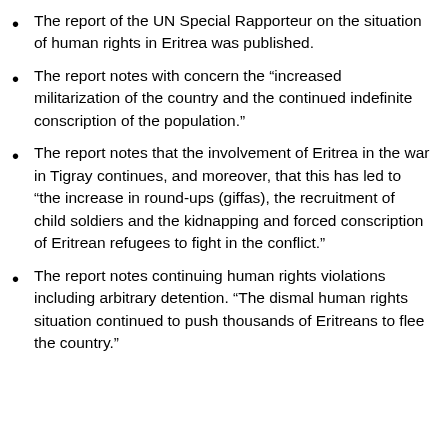The report of the UN Special Rapporteur on the situation of human rights in Eritrea was published.
The report notes with concern the “increased militarization of the country and the continued indefinite conscription of the population.”
The report notes that the involvement of Eritrea in the war in Tigray continues, and moreover, that this has led to “the increase in round-ups (giffas), the recruitment of child soldiers and the kidnapping and forced conscription of Eritrean refugees to fight in the conflict.”
The report notes continuing human rights violations including arbitrary detention. “The dismal human rights situation continued to push thousands of Eritreans to flee the country.”